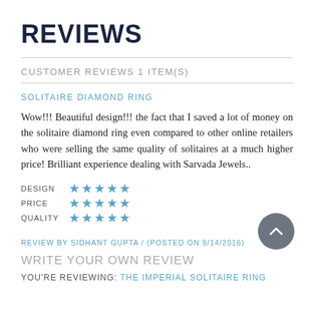REVIEWS
CUSTOMER REVIEWS 1 ITEM(S)
SOLITAIRE DIAMOND RING
Wow!!! Beautiful design!!! the fact that I saved a lot of money on the solitaire diamond ring even compared to other online retailers who were selling the same quality of solitaires at a much higher price! Brilliant experience dealing with Sarvada Jewels..
DESIGN ★★★★★
PRICE ★★★★★
QUALITY ★★★★★
REVIEW BY SIDHANT GUPTA / (POSTED ON 9/14/2016)
WRITE YOUR OWN REVIEW
YOU'RE REVIEWING: THE IMPERIAL SOLITAIRE RING